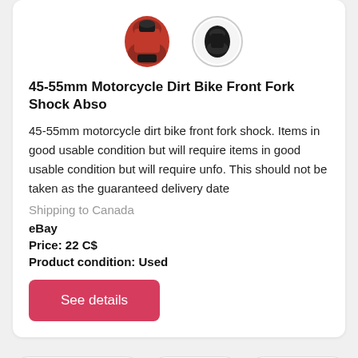[Figure (photo): Two product photos of a red and black motorcycle front fork shock absorber boot — one larger main image and one smaller circular thumbnail.]
45-55mm Motorcycle Dirt Bike Front Fork Shock Abso
45-55mm motorcycle dirt bike front fork shock. Items in good usable condition but will require items in good usable condition but will require unfo. This should not be taken as the guaranteed delivery date
Shipping to Canada
eBay
Price: 22 C$
Product condition: Used
See details
kawasaki gpz 1100
kawasaki f9
kawasaki mt1